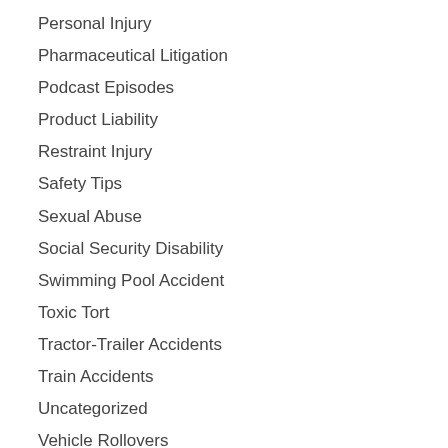Personal Injury
Pharmaceutical Litigation
Podcast Episodes
Product Liability
Restraint Injury
Safety Tips
Sexual Abuse
Social Security Disability
Swimming Pool Accident
Toxic Tort
Tractor-Trailer Accidents
Train Accidents
Uncategorized
Vehicle Rollovers